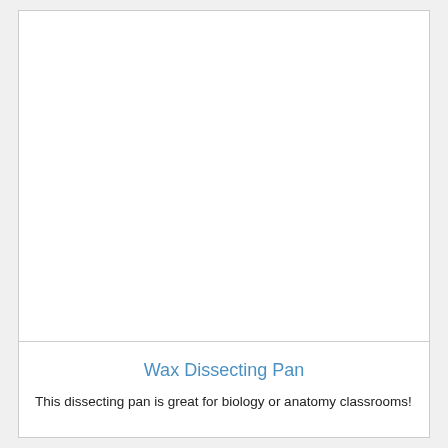[Figure (photo): Product image area for Wax Dissecting Pan — white/blank image placeholder]
Wax Dissecting Pan
This dissecting pan is great for biology or anatomy classrooms!